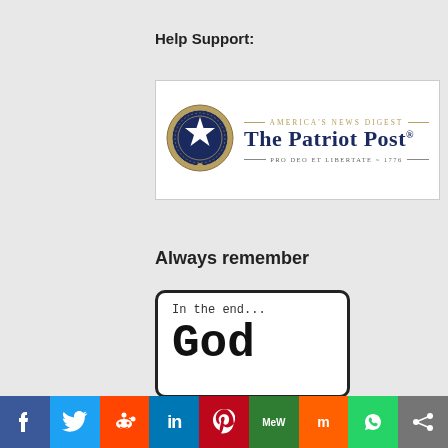Help Support:
[Figure (logo): The Patriot Post logo — America's News Digest, Pro Deo Et Libertate ~ 1776, with circular star emblem]
Always remember
[Figure (illustration): White card with rounded corners and dark border reading: 'In the end... God']
[Figure (infographic): Social media share bar with icons: Facebook (blue), Twitter (light blue), Reddit (orange), LinkedIn (dark blue), Pinterest (red), MeWe (green), Mix (orange), WhatsApp (green), Share (grey)]